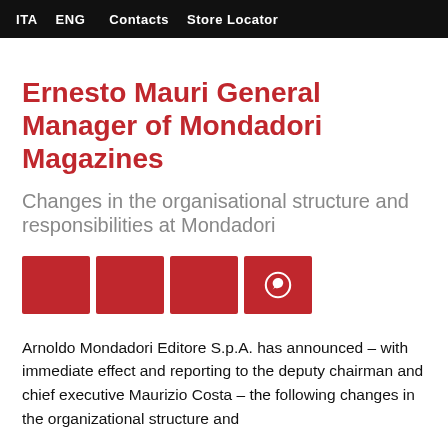ITA ENG   Contacts   Store Locator
Ernesto Mauri General Manager of Mondadori Magazines
Changes in the organisational structure and responsibilities at Mondadori
[Figure (other): Social share buttons: four red square buttons, the fourth showing a WhatsApp icon]
Arnoldo Mondadori Editore S.p.A. has announced – with immediate effect and reporting to the deputy chairman and chief executive Maurizio Costa – the following changes in the organizational structure and